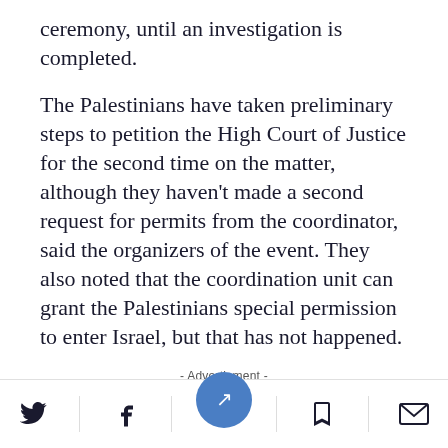ceremony, until an investigation is completed.
The Palestinians have taken preliminary steps to petition the High Court of Justice for the second time on the matter, although they haven't made a second request for permits from the coordinator, said the organizers of the event. They also noted that the coordination unit can grant the Palestinians special permission to enter Israel, but that has not happened.
- Advertisment -
[Figure (screenshot): Dark advertisement banner with red text reading 'From the multi award-winning']
Social share bar with Twitter, Facebook, bookmark, and email icons, and a blue circular navigation button